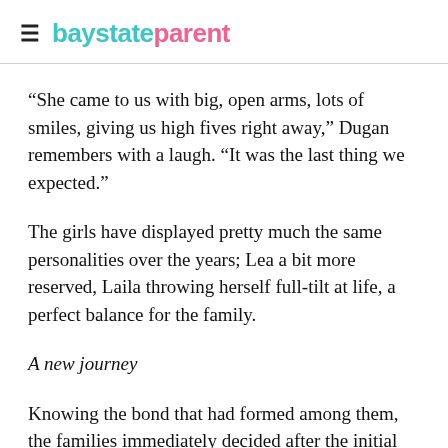baystateparent
“She came to us with big, open arms, lots of smiles, giving us high fives right away,” Dugan remembers with a laugh. “It was the last thing we expected.”
The girls have displayed pretty much the same personalities over the years; Lea a bit more reserved, Laila throwing herself full-tilt at life, a perfect balance for the family.
A new journey
Knowing the bond that had formed among them, the families immediately decided after the initial China trip that they would return when the girls